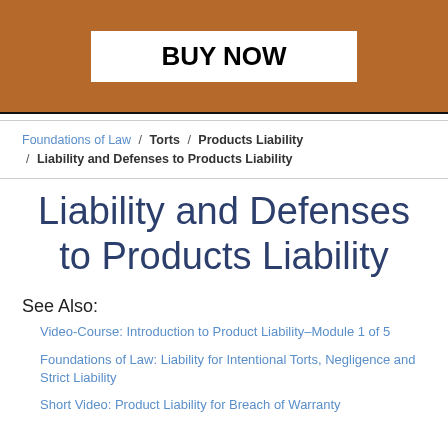[Figure (other): Brown/orange banner with a white 'BUY NOW' button]
Foundations of Law / Torts / Products Liability / Liability and Defenses to Products Liability
Liability and Defenses to Products Liability
See Also:
Video-Course: Introduction to Product Liability–Module 1 of 5
Foundations of Law: Liability for Intentional Torts, Negligence and Strict Liability
Short Video: Product Liability for Breach of Warranty